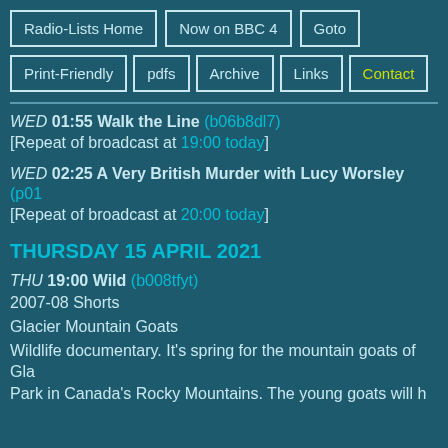Radio-Lists Home | Now on BBC 4 | Goto | Print-Friendly | pdfs | Archive | Links | Contact
WED 01:55 Walk the Line (b06b8dl7)
[Repeat of broadcast at 19:00 today]
WED 02:25 A Very British Murder with Lucy Worsley (p01…)
[Repeat of broadcast at 20:00 today]
THURSDAY 15 APRIL 2021
THU 19:00 Wild (b008tfyt)
2007-08 Shorts

Glacier Mountain Goats

Wildlife documentary. It's spring for the mountain goats of Glacier Park in Canada's Rocky Mountains. The young goats will h…